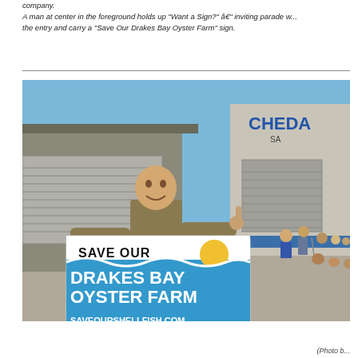company.
A man at center in the foreground holds up "Want a Sign?" â€" inviting parade w... the entry and carry a "Save Our Drakes Bay Oyster Farm" sign.
[Figure (photo): A man standing in the middle of a street at a parade, holding a large sign that reads 'SAVE OUR DRAKES BAY OYSTER FARM SAVEOURSHELLFISH.COM'. The sign has a blue and white wave design with a yellow sun. In the background is a building with 'CHEDA' signage and spectators sitting along the sidewalk.]
(Photo b...